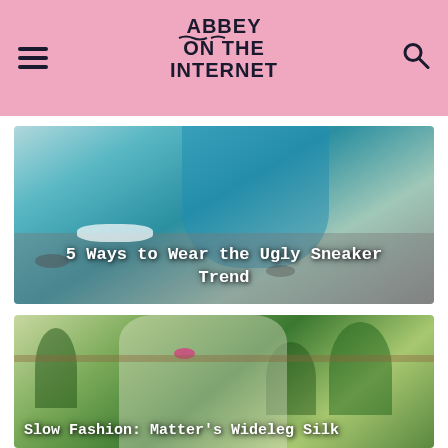Abbey On The Internet
[Figure (photo): Person in a blue floral dress wearing white sneakers, photographed from above on a grey surface with rocks]
5 Ways to Wear the Ugly Sneaker Trend
[Figure (photo): Blonde woman in a white embroidered jacket with pink earrings, surrounded by plants in a greenhouse setting]
Slow Fashion: Matter's Wideleg Silk